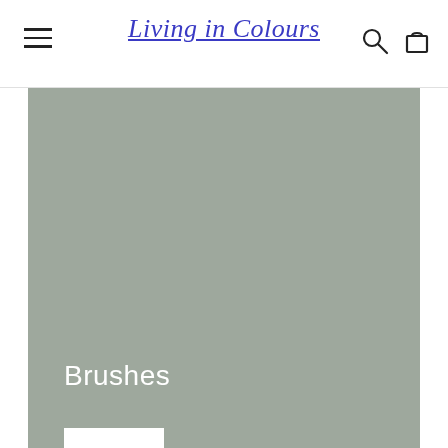Living in Colours
[Figure (photo): Grey/sage colored hero image background for Brushes product category page]
Brushes